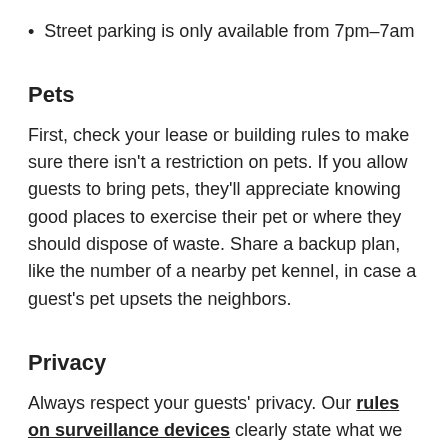Street parking is only available from 7pm–7am
Pets
First, check your lease or building rules to make sure there isn't a restriction on pets. If you allow guests to bring pets, they'll appreciate knowing good places to exercise their pet or where they should dispose of waste. Share a backup plan, like the number of a nearby pet kennel, in case a guest's pet upsets the neighbors.
Privacy
Always respect your guests' privacy. Our rules on surveillance devices clearly state what we